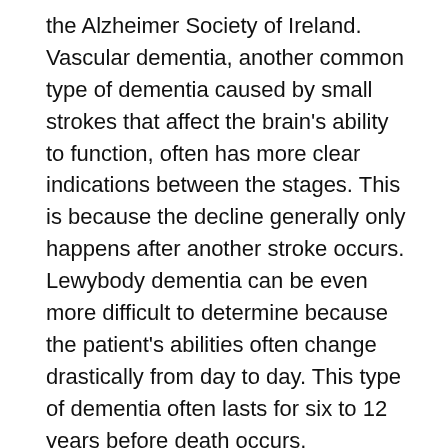the Alzheimer Society of Ireland. Vascular dementia, another common type of dementia caused by small strokes that affect the brain's ability to function, often has more clear indications between the stages. This is because the decline generally only happens after another stroke occurs. Lewybody dementia can be even more difficult to determine because the patient's abilities often change drastically from day to day. This type of dementia often lasts for six to 12 years before death occurs.
Alzheimer's disease can be more predictable, but it still varies wildly depending on the individual circumstances, explains HelpGuide.org. Stage one, or mild cognitive impairment, may last two to four years. Moderate Alzheimer's often lasts two to 10 years, while the third and most severe stage lasts one to three years or more. Alzheimer's disease also has a preclinical phase, in which